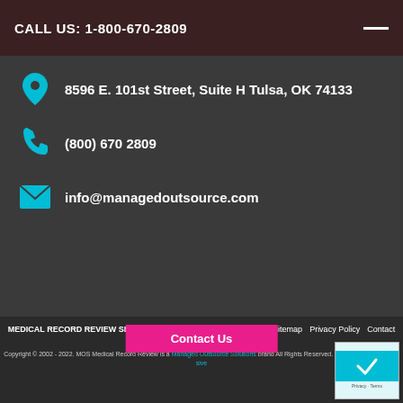CALL US: 1-800-670-2809
8596 E. 101st Street, Suite H Tulsa, OK 74133
(800) 670 2809
info@managedoutsource.com
MEDICAL RECORD REVIEW SERVICE  About  Services  Disclaimer  Sitemap  Privacy Policy  Contact
Copyright © 2002 - 2022. MOS Medical Record Review is a Managed Outsource Solutions brand All Rights Reserved. Design by MedResponsive